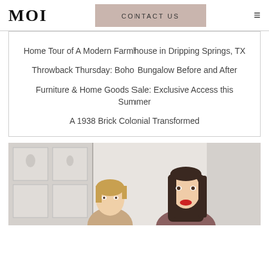MOI | CONTACT US
Home Tour of A Modern Farmhouse in Dripping Springs, TX
Throwback Thursday: Boho Bungalow Before and After
Furniture & Home Goods Sale: Exclusive Access this Summer
A 1938 Brick Colonial Transformed
[Figure (photo): Two women smiling in front of white cabinetry, appearing to be interior designers or blog authors.]